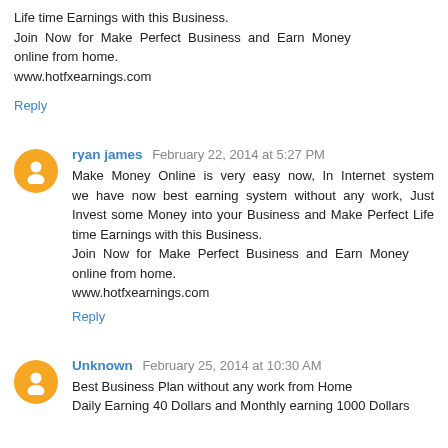Life time Earnings with this Business.
Join Now for Make Perfect Business and Earn Money online from home.
www.hotfxearnings.com
Reply
ryan james  February 22, 2014 at 5:27 PM
Make Money Online is very easy now, In Internet system we have now best earning system without any work, Just Invest some Money into your Business and Make Perfect Life time Earnings with this Business.
Join Now for Make Perfect Business and Earn Money online from home.
www.hotfxearnings.com
Reply
Unknown  February 25, 2014 at 10:30 AM
Best Business Plan without any work from Home
Daily Earning 40 Dollars and Monthly earning 1000 Dollars